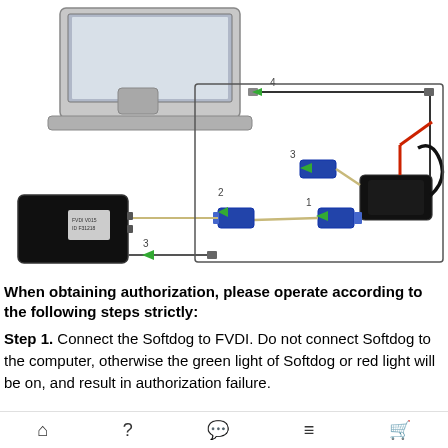[Figure (schematic): Hardware connection diagram showing a laptop computer connected via USB cable (step 4), an FVDI device (black box, left), cables with blue VGA-style connectors (steps 1, 2, 3), and a power/interface device with red and black cables (step 3 connector). Numbered green arrows indicate connection steps.]
When obtaining authorization, please operate according to the following steps strictly:
Step 1. Connect the Softdog to FVDI. Do not connect Softdog to the computer, otherwise the green light of Softdog or red light will be on, and result in authorization failure.
Home | Help | Chat | List | Cart